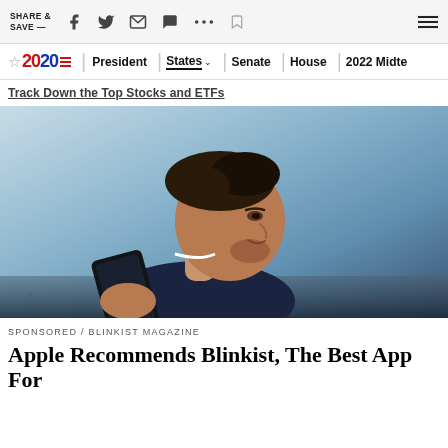SHARE & SAVE —
2020 | President | States | Senate | House | 2022 Midte
(partial title bar text, cut off)
[Figure (photo): A man with dark hair smiling while looking at a smartphone, photographed against a blurred dusk city background. He is wearing a dark navy t-shirt.]
SPONSORED / BLINKIST MAGAZINE
Apple Recommends Blinkist, The Best App For